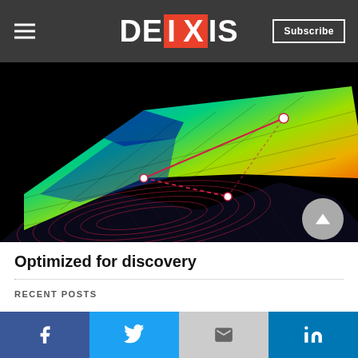DEIXIS — Subscribe
[Figure (illustration): 3D mathematical optimization surface plot showing a colorful saddle-shaped surface (blue to green to red gradient) on a black background with contour lines below and a red path with white dots indicating an optimization trajectory]
Optimized for discovery
RECENT POSTS
[Figure (infographic): Social share bar with Facebook, Twitter, Gmail/Google, and LinkedIn icons, and a grey scroll-to-top button]